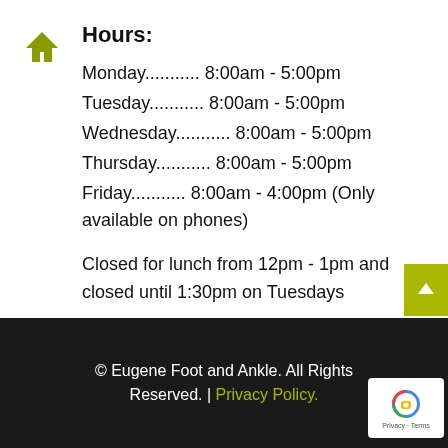Hours:
Monday........... 8:00am - 5:00pm
Tuesday........... 8:00am - 5:00pm
Wednesday........... 8:00am - 5:00pm
Thursday........... 8:00am - 5:00pm
Friday........... 8:00am - 4:00pm (Only available on phones)
Closed for lunch from 12pm - 1pm and closed until 1:30pm on Tuesdays
© Eugene Foot and Ankle. All Rights Reserved. | Privacy Policy.